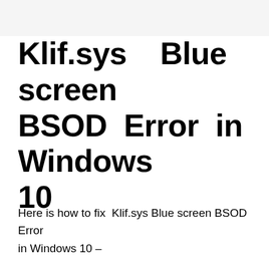Klif.sys Blue screen BSOD Error in Windows 10
Here is how to fix Klif.sys Blue screen BSOD Error in Windows 10 –